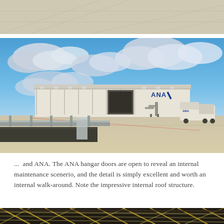[Figure (photo): Top portion of an airport/tarmac scene, cropped — beige/tan concrete surface with faint lines visible, partial view of a previous photo]
[Figure (photo): ANA airline hangar at an airport. Large white rectangular hangar building with 'ANA' logo and blue stripe on the facade. Hangar doors are open. Airport tarmac/apron in foreground with a jet bridge/stairway and a white service truck on the right. Blue sky with white clouds above.]
...  and ANA. The ANA hangar doors are open to reveal an internal maintenance scenerio, and the detail is simply excellent and worth an internal walk-around. Note the impressive internal roof structure.
[Figure (photo): Interior view of an aircraft hangar roof structure showing a complex lattice of steel beams and trusses, viewed from below. Dark overhead with yellow/gold metallic cross-bracing visible.]